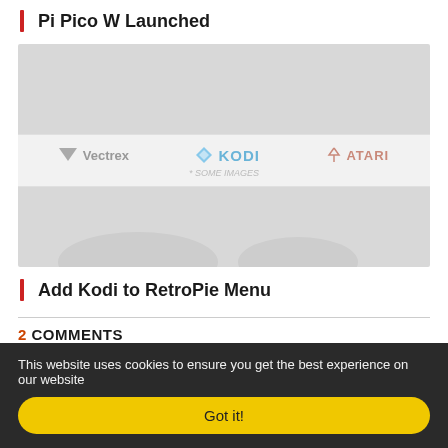Pi Pico W Launched
[Figure (screenshot): Screenshot of a webpage or article image showing logos of Vectrex, Kodi, and Atari on a light gray background with additional gray image areas above and below]
Add Kodi to RetroPie Menu
2 COMMENTS
This website uses cookies to ensure you get the best experience on our website
Got it!